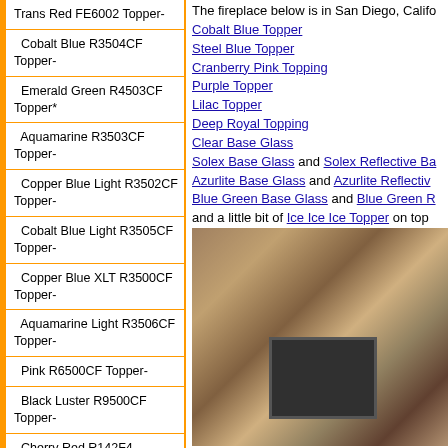Trans Red FE6002 Topper-
Cobalt Blue R3504CF Topper-
Emerald Green R4503CF Topper*
Aquamarine R3503CF Topper-
Copper Blue Light R3502CF Topper-
Cobalt Blue Light R3505CF Topper-
Copper Blue XLT R3500CF Topper-
Aquamarine Light R3506CF Topper-
Pink R6500CF Topper-
Black Luster R9500CF Topper-
Cherry Red R142F4
The fireplace below is in San Diego, California. It has: Cobalt Blue Topper, Steel Blue Topper, Cranberry Pink Topping, Purple Topper, Lilac Topper, Deep Royal Topping, Clear Base Glass, Solex Base Glass and Solex Reflective Base Glass, Azurlite Base Glass and Azurlite Reflective Base Glass, Blue Green Base Glass and Blue Green Reflective Base Glass and a little bit of Ice Ice Ice Topper on top. wow! The end pictures show that the burner was moved forward.
[Figure (photo): Fireplace photo showing stone surround with dark firebox, located in San Diego, California. The stones are brown, tan and grey with a dark rectangular firebox visible.]